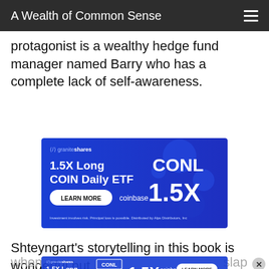A Wealth of Common Sense
protagonist is a wealthy hedge fund manager named Barry who has a complete lack of self-awareness.
[Figure (infographic): GraniteShares 1.5X Long COIN Daily ETF advertisement banner with CONL 1.5X branding on blue background. Includes LEARN MORE button and coinbase logo. Disclaimer: Investment involves risk. Principal loss is possible. Distributed by Alps Distributors, Inc.]
Shteyngart's storytelling in this book is wonderful but
[Figure (infographic): GraniteShares 1.5X Long COIN Daily ETF bottom sticky advertisement banner with CONL 1.5X branding on blue background. Includes LEARN MORE button and coinbase logo.]